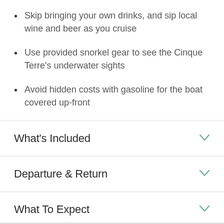Skip bringing your own drinks, and sip local wine and beer as you cruise
Use provided snorkel gear to see the Cinque Terre's underwater sights
Avoid hidden costs with gasoline for the boat covered up-front
What's Included
Departure & Return
What To Expect